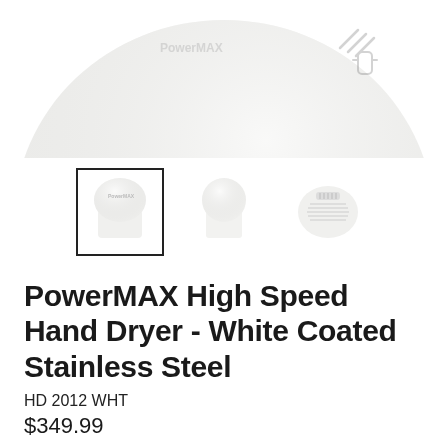[Figure (photo): Top portion of a white PowerMAX hand dryer, rounded dome shape, on white background]
[Figure (photo): Three thumbnail images of the PowerMAX hand dryer: front view (selected, with border), side view, and bottom/back view]
PowerMAX High Speed Hand Dryer - White Coated Stainless Steel
HD 2012 WHT
$349.99
or 5 fortnightly payments of $69.99 with humm